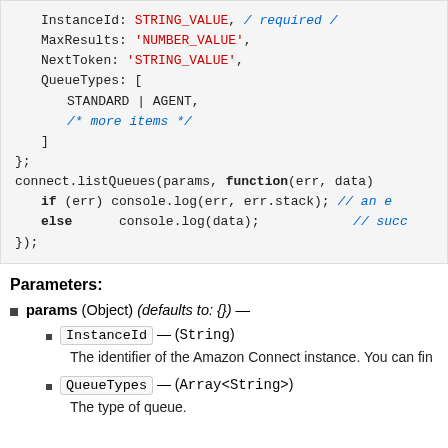[Figure (screenshot): Code block showing JavaScript API call with params object including InstanceId, MaxResults, NextToken, QueueTypes fields, and connect.listQueues callback function]
Parameters:
params (Object) (defaults to: {}) —
InstanceId — (String)
The identifier of the Amazon Connect instance. You can fin
QueueTypes — (Array<String>)
The type of queue.